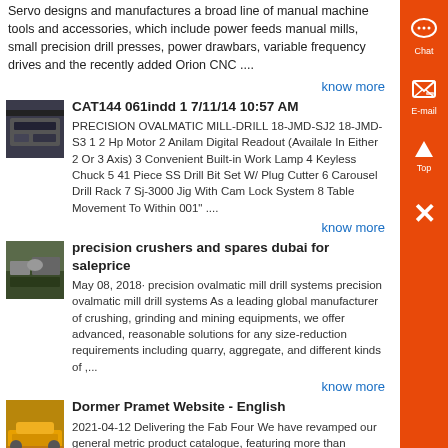Servo designs and manufactures a broad line of manual machine tools and accessories, which include power feeds manual mills, small precision drill presses, power drawbars, variable frequency drives and the recently added Orion CNC ....
know more
[Figure (photo): Thumbnail image of industrial machinery (dark blue/grey machine)]
CAT144 061indd 1 7/11/14 10:57 AM
PRECISION OVALMATIC MILL-DRILL 18-JMD-SJ2 18-JMD-S3 1 2 Hp Motor 2 Anilam Digital Readout (Availale In Either 2 Or 3 Axis) 3 Convenient Built-in Work Lamp 4 Keyless Chuck 5 41 Piece SS Drill Bit Set W/ Plug Cutter 6 Carousel Drill Rack 7 Sj-3000 Jig With Cam Lock System 8 Table Movement To Within 001" ....
know more
[Figure (photo): Thumbnail image of industrial crushing/mining equipment outdoors]
precision crushers and spares dubai for saleprice
May 08, 2018· precision ovalmatic mill drill systems precision ovalmatic mill drill systems As a leading global manufacturer of crushing, grinding and mining equipments, we offer advanced, reasonable solutions for any size-reduction requirements including quarry, aggregate, and different kinds of ,...
know more
[Figure (photo): Thumbnail image of yellow industrial equipment on ground]
Dormer Pramet Website - English
2021-04-12 Delivering the Fab Four We have revamped our general metric product catalogue, featuring more than